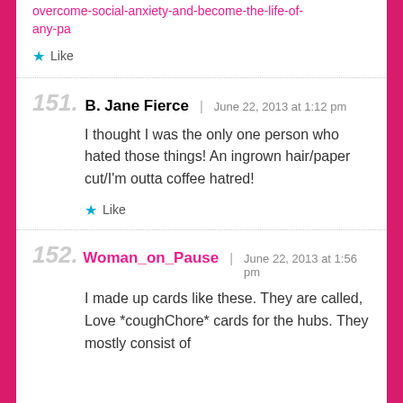overcome-social-anxiety-and-become-the-life-of-any-pa
★ Like
151. B. Jane Fierce | June 22, 2013 at 1:12 pm
I thought I was the only one person who hated those things! An ingrown hair/paper cut/I'm outta coffee hatred!
★ Like
152. Woman_on_Pause | June 22, 2013 at 1:56 pm
I made up cards like these. They are called, Love *coughChore* cards for the hubs. They mostly consist of